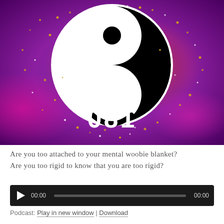[Figure (illustration): Podcast cover art showing a yin-yang smiley face symbol on a colorful purple, magenta, and orange background with gold/white sparkles/confetti. Text overlay reads 'POD 081' in white bold font.]
Are you too attached to your mental woobie blanket? Are you too rigid to know that you are too rigid?
[Figure (screenshot): Audio player widget with dark background, play button, time display showing 00:00, progress bar, and end time 00:00.]
Podcast: Play in new window | Download